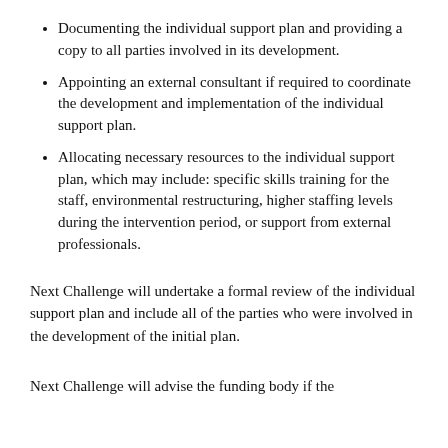Documenting the individual support plan and providing a copy to all parties involved in its development.
Appointing an external consultant if required to coordinate the development and implementation of the individual support plan.
Allocating necessary resources to the individual support plan, which may include: specific skills training for the staff, environmental restructuring, higher staffing levels during the intervention period, or support from external professionals.
Next Challenge will undertake a formal review of the individual support plan and include all of the parties who were involved in the development of the initial plan.
Next Challenge will advise the funding body if the